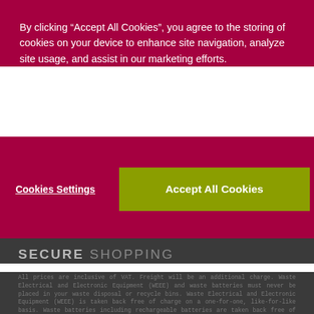By clicking “Accept All Cookies”, you agree to the storing of cookies on your device to enhance site navigation, analyze site usage, and assist in our marketing efforts.
Cookies Settings
Accept All Cookies
SECURE SHOPPING
All prices are inclusive of VAT. Freight will be an additional charge. Waste Electrical and Electronic Equipment (WEEE) and waste batteries must never be placed in your waste disposal or recycle bins. Waste Electrical and Electronic Equipment (WEEE) is taken back free of charge on a one-for-one, like-for-like basis. Waste batteries including rechargeable batteries are taken back free of charge. You are not obliged to make any purchase when returning old batteries. Each local authority must also accept household WEEE and small batteries free of charge at its recycling facilities. All WEEE and waste batteries must be recycled and should not be placed in any of your household wheelie bins. Make sure you always recycle all your old electrical goods and batteries. There is a container for small waste batteries in your local store. Local authority civic amenity facilities also take back WEEE and waste batteries free of charge. WEEE and waste battery recycling is free. Producer Registration Number: IE 01331WB; Ogalas Unitd Registered office: Unit 4 Parkway House, Ballymount Drive, Dublin 12 D12 ECR9, Ireland. Company registration number 382168. VAT no ie 6402168 I